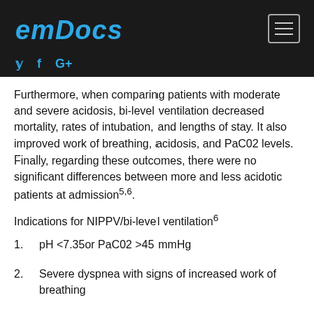emDocs
Furthermore, when comparing patients with moderate and severe acidosis, bi-level ventilation decreased mortality, rates of intubation, and lengths of stay. It also improved work of breathing, acidosis, and PaC02 levels. Finally, regarding these outcomes, there were no significant differences between more and less acidotic patients at admission5,6.
Indications for NIPPV/bi-level ventilation6
1.   pH <7.35or PaC02 >45 mmHg
2.   Severe dyspnea with signs of increased work of breathing